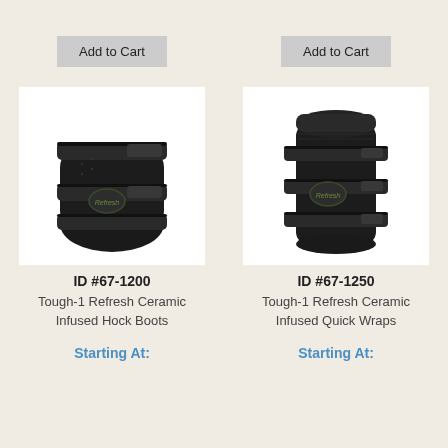[Figure (photo): Gray 'Add to Cart' button for product ID #67-1200]
[Figure (photo): Gray 'Add to Cart' button for product ID #67-1250]
[Figure (photo): Photo of Tough-1 Refresh Ceramic Infused Hock Boots, black equine boot with Refresh logo, product ID #67-1200]
[Figure (photo): Photo of Tough-1 Refresh Ceramic Infused Quick Wraps, black equine wrap with Refresh logo, product ID #67-1250]
ID #67-1200
ID #67-1250
Tough-1 Refresh Ceramic Infused Hock Boots
Tough-1 Refresh Ceramic Infused Quick Wraps
Starting At:
Starting At: